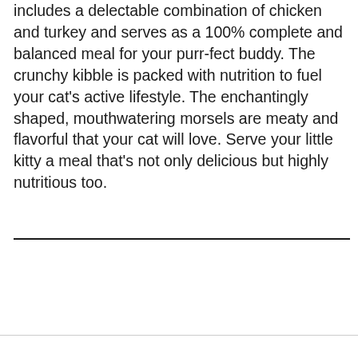includes a delectable combination of chicken and turkey and serves as a 100% complete and balanced meal for your purr-fect buddy. The crunchy kibble is packed with nutrition to fuel your cat's active lifestyle. The enchantingly shaped, mouthwatering morsels are meaty and flavorful that your cat will love. Serve your little kitty a meal that's not only delicious but highly nutritious too.